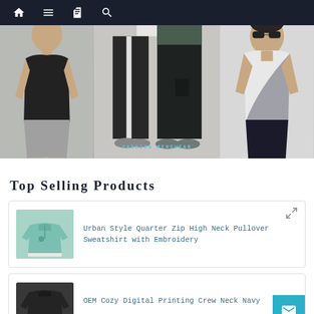Navigation bar with home, menu, book, and search icons
[Figure (photo): Fashion menswear banner showing three sections: man in black sleeveless top and grey shorts; two views of men in black pants with white stripe track pants; man in grey and white color-block t-shirt with sunglasses]
Top Selling Products
[Figure (photo): Product thumbnail of mint green quarter-zip high neck pullover sweatshirt with embroidery]
Urban Style Quarter Zip High Neck Pullover Sweatshirt with Embroidery
[Figure (photo): Product thumbnail of dark navy crew neck sweatshirt]
OEM Cozy Digital Printing Crew Neck Navy